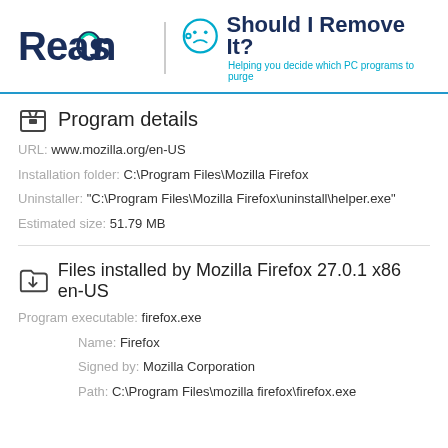[Figure (logo): Reason logo and Should I Remove It? logo with tagline 'Helping you decide which PC programs to purge']
Program details
URL: www.mozilla.org/en-US
Installation folder: C:\Program Files\Mozilla Firefox
Uninstaller: "C:\Program Files\Mozilla Firefox\uninstall\helper.exe"
Estimated size: 51.79 MB
Files installed by Mozilla Firefox 27.0.1 x86 en-US
Program executable: firefox.exe
Name: Firefox
Signed by: Mozilla Corporation
Path: C:\Program Files\mozilla firefox\firefox.exe